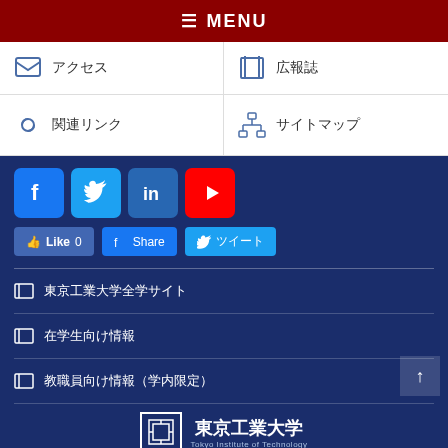≡ MENU
アクセス
広報誌
関連リンク
サイトマップ
[Figure (infographic): Social media buttons: Facebook, Twitter, LinkedIn, YouTube, and share/like buttons]
東京工業大学全学サイト
在学生向け情報
教職員向け情報（学内限定）
[Figure (logo): Tokyo Institute of Technology logo with Japanese text 東京工業大学 and English subtitle Tokyo Institute of Technology]
© Dept. of Life Science and Technology, Tokyo Institute of Technology